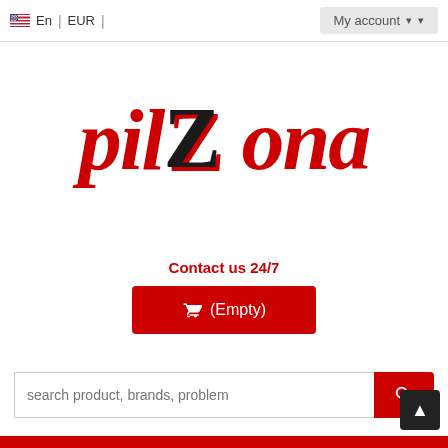En | EUR | My account
[Figure (logo): pilZona logo with red italic 'pil' and 'ona' text and a bold black stylized 'Z' with red shadow]
Contact us 24/7
(Empty) - shopping cart button
search product, brands, problem - search bar
Red footer bar at bottom